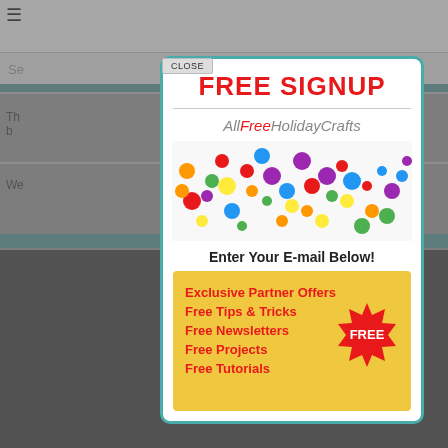[Figure (screenshot): Website background showing navigation bar, search bar, teal divider, and partial content]
[Figure (infographic): Free Signup modal popup for AllFreeHolidayCrafts with confetti image, email signup prompt, and list of benefits including Exclusive Partner Offers, Free Tips & Tricks, Free Newsletters, Free Projects, Free Tutorials, with a red FREE starburst badge on yellow background]